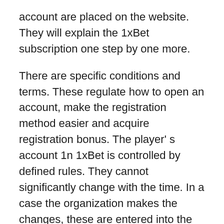account are placed on the website. They will explain the 1xBet subscription one step by one more.
There are specific conditions and terms. These regulate how to open an account, make the registration method easier and acquire registration bonus. The player' s account 1n 1xBet is controlled by defined rules. They cannot significantly change with the time. In a case the organization makes the changes, these are entered into the system immediately. The customers might take the time to read it.
In case of any unconformity of the content the support team resolves any conflicts. The team interprets greatly just how registration of new customers happen, what to do if the password is usually forgotten. The team is gets results quite effectively. It communicates t o the clients is a friendly manner. The ultimate goal of the team is to